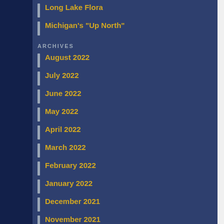Long Lake Flora
Michigan's "Up North"
ARCHIVES
August 2022
July 2022
June 2022
May 2022
April 2022
March 2022
February 2022
January 2022
December 2021
November 2021
October 2021
September 2021
August 2021
July 2021